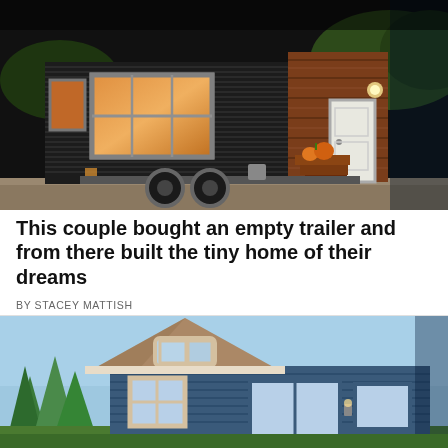[Figure (photo): Exterior photo of a tiny house on wheels with dark corrugated metal siding, wood accent panels, a large window with orange interior light visible, white door with steps, pumpkins on steps, and dual trailer wheels on gravel.]
This couple bought an empty trailer and from there built the tiny home of their dreams
BY STACEY MATTISH
[Figure (photo): Exterior photo of a blue tiny house with cream/beige trim, barn-style peaked roof with cedar shingles, multiple windows, surrounded by trees under a clear blue sky.]